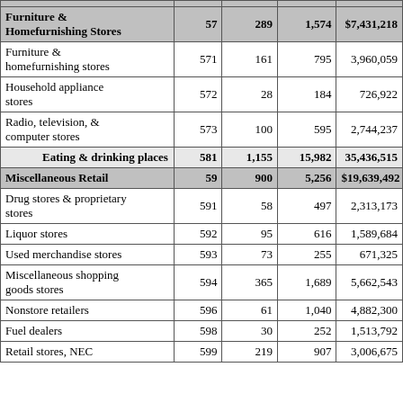| Industry/Kind | SIC | Est. | Emp. | Sales ($) |
| --- | --- | --- | --- | --- |
| Furniture & Homefurnishing Stores | 57 | 289 | 1,574 | $7,431,218 |
| Furniture & homefurnishing stores | 571 | 161 | 795 | 3,960,059 |
| Household appliance stores | 572 | 28 | 184 | 726,922 |
| Radio, television, & computer stores | 573 | 100 | 595 | 2,744,237 |
| Eating & drinking places | 581 | 1,155 | 15,982 | 35,436,515 |
| Miscellaneous Retail | 59 | 900 | 5,256 | $19,639,492 |
| Drug stores & proprietary stores | 591 | 58 | 497 | 2,313,173 |
| Liquor stores | 592 | 95 | 616 | 1,589,684 |
| Used merchandise stores | 593 | 73 | 255 | 671,325 |
| Miscellaneous shopping goods stores | 594 | 365 | 1,689 | 5,662,543 |
| Nonstore retailers | 596 | 61 | 1,040 | 4,882,300 |
| Fuel dealers | 598 | 30 | 252 | 1,513,792 |
| Retail stores, NEC | 599 | 219 | 907 | 3,006,675 |